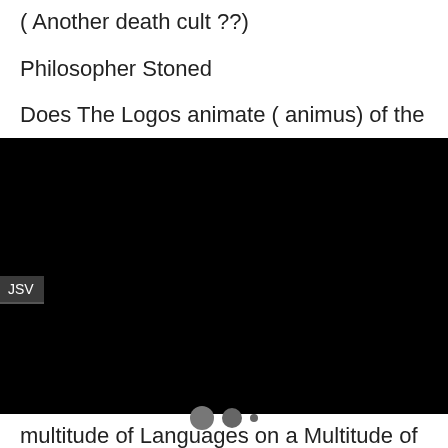( Another death cult ??)
Philosopher Stoned
Does The Logos animate ( animus) of the
[Figure (screenshot): Black video player area with JSV label in top-left corner and three loading dots (two circles and a small dot) in the center]
multitude of Languages on a Multitude of